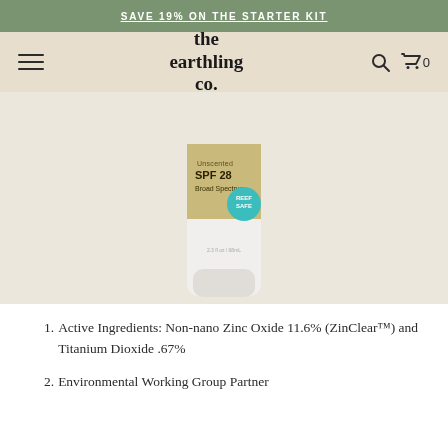SAVE 19% ON THE STARTER KIT
[Figure (screenshot): The Earthling Co. website navigation bar with hamburger menu, logo, search icon, and cart icon on a beige background]
[Figure (photo): Sunscreen tube product with gold and white label showing 'Unscented SPF 28 Broad Spectrum' and a teal 'Reef Safe' badge, 2.3 fl oz / 68 mL]
Active Ingredients: Non-nano Zinc Oxide 11.6% (ZinClear™) and Titanium Dioxide .67%
Environmental Working Group Partner